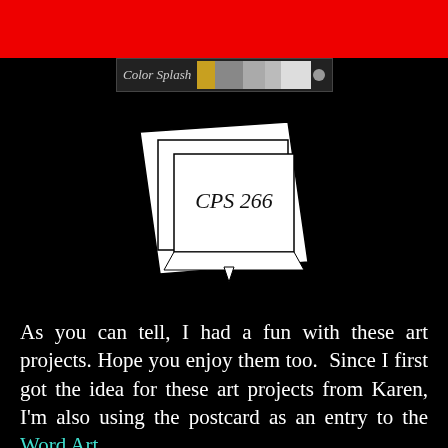[Figure (photo): Red banner bar at top of page]
[Figure (screenshot): Color Splash app/filter strip showing text 'Color Splash' with colored swatches in gold, gray tones, and white]
[Figure (logo): CPS 266 logo — nested rectangles/cards in perspective forming a card stack, with 'CPS 266' handwritten text in the center card]
As you can tell, I had a fun with these art projects. Hope you enjoy them too.  Since I first got the idea for these art projects from Karen, I'm also using the postcard as an entry to the Word Art